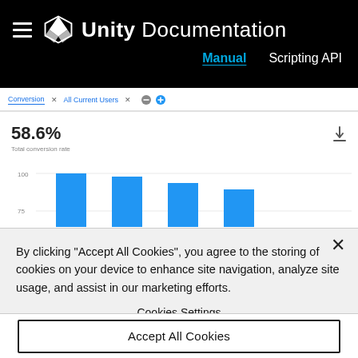Unity Documentation
Manual   Scripting API
[Figure (screenshot): Google Analytics conversion rate screenshot showing 58.6% Total conversion rate with a bar chart below displaying 4 bars in blue. Tabs shown: Conversion, All Current Users. Y-axis labels show approximately 100 and 75.]
By clicking "Accept All Cookies", you agree to the storing of cookies on your device to enhance site navigation, analyze site usage, and assist in our marketing efforts.
Cookies Settings
Accept All Cookies